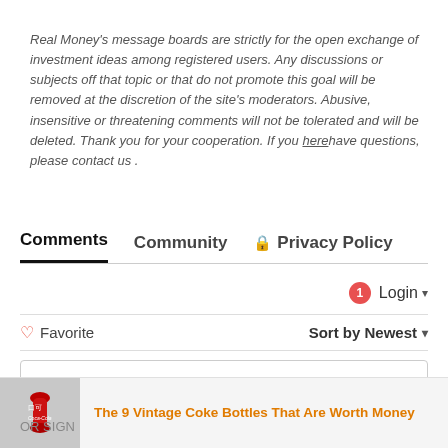Real Money's message boards are strictly for the open exchange of investment ideas among registered users. Any discussions or subjects off that topic or that do not promote this goal will be removed at the discretion of the site's moderators. Abusive, insensitive or threatening comments will not be tolerated and will be deleted. Thank you for your cooperation. If you here have questions, please contact us .
Comments   Community   Privacy Policy
Login ▾
♡ Favorite   Sort by Newest ▾
Start the discussion...
LOG IN WITH
[Figure (screenshot): Social login icons: Disqus (blue D), Facebook (dark blue f), Twitter (light blue bird), Google (red G)]
[Figure (photo): Ad banner: Vintage Coke bottle image with text 'The 9 Vintage Coke Bottles That Are Worth Money']
OR SIGN